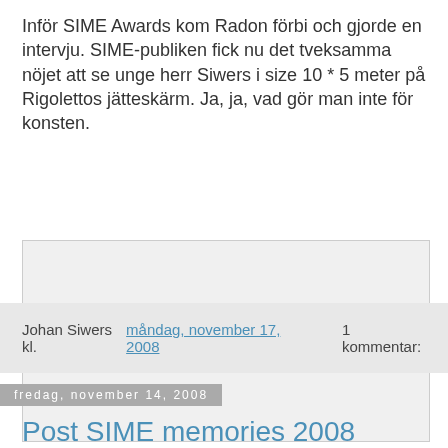Inför SIME Awards kom Radon förbi och gjorde en intervju. SIME-publiken fick nu det tveksamma nöjet att se unge herr Siwers i size 10 * 5 meter på Rigolettos jätteskärm. Ja, ja, vad gör man inte för konsten.
[Figure (other): Embedded plugin area showing 'Couldn't load plugin.' message]
Johan Siwers kl. måndag, november 17, 2008    1 kommentar:
fredag, november 14, 2008
Post SIME memories 2008